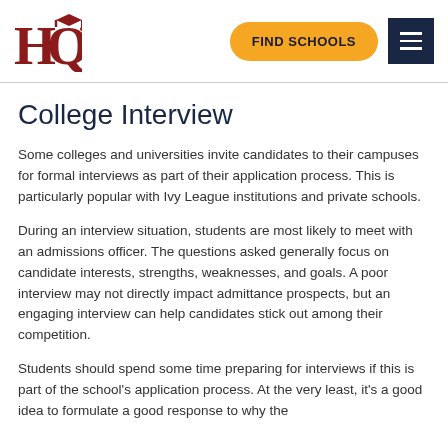HQ | FIND SCHOOLS | [menu]
College Interview
Some colleges and universities invite candidates to their campuses for formal interviews as part of their application process. This is particularly popular with Ivy League institutions and private schools.
During an interview situation, students are most likely to meet with an admissions officer. The questions asked generally focus on candidate interests, strengths, weaknesses, and goals. A poor interview may not directly impact admittance prospects, but an engaging interview can help candidates stick out among their competition.
Students should spend some time preparing for interviews if this is part of the school's application process. At the very least, it's a good idea to formulate a good response to why the